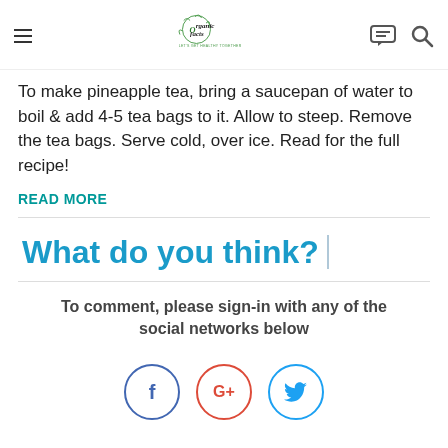Organic Facts - Let's Get Healthy Together
To make pineapple tea, bring a saucepan of water to boil & add 4-5 tea bags to it. Allow to steep. Remove the tea bags. Serve cold, over ice. Read for the full recipe!
READ MORE
What do you think?
To comment, please sign-in with any of the social networks below
[Figure (other): Social login buttons: Facebook (f), Google+ (G+), and Twitter (bird icon) as circular outlined buttons]